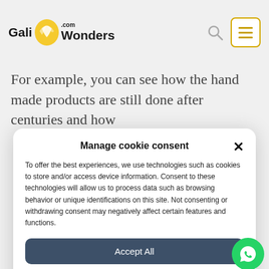GaliWonders.com
For example, you can see how the hand made products are still done after centuries and how
Manage cookie consent
To offer the best experiences, we use technologies such as cookies to store and/or access device information. Consent to these technologies will allow us to process data such as browsing behavior or unique identifications on this site. Not consenting or withdrawing consent may negatively affect certain features and functions.
Accept All
See Preferences
Cookie Policy  Privacy Policy